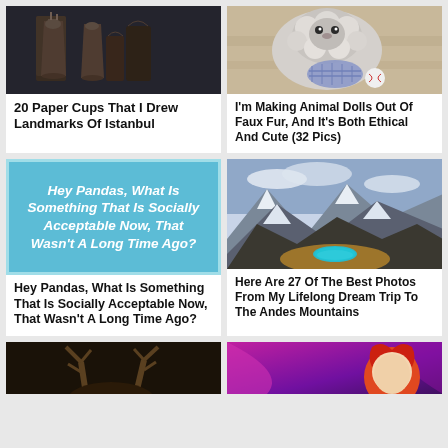[Figure (photo): Photo of paper cups with landmark drawings, dark moody image]
20 Paper Cups That I Drew Landmarks Of Istanbul
[Figure (photo): Close-up photo of a fluffy animal doll made of faux fur]
I'm Making Animal Dolls Out Of Faux Fur, And It's Both Ethical And Cute (32 Pics)
[Figure (illustration): Light blue card with centered white italic text]
Hey Pandas, What Is Something That Is Socially Acceptable Now, That Wasn't A Long Time Ago?
[Figure (photo): Dramatic mountain landscape with snow-capped peaks and a turquoise lake]
Here Are 27 Of The Best Photos From My Lifelong Dream Trip To The Andes Mountains
[Figure (photo): Dark photo showing antlers, partial view at bottom]
[Figure (photo): Colorful illustration/photo with purple and magenta tones, partial view at bottom]